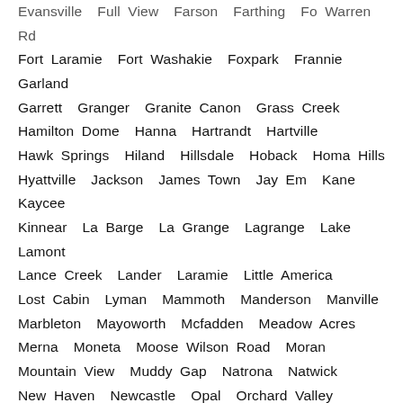Evansville  Full View  Farson  Farthing  Fo Warren Rd  Fort Laramie  Fort Washakie  Foxpark  Frannie  Garland  Garrett  Granger  Granite Canon  Grass Creek  Hamilton Dome  Hanna  Hartrandt  Hartville  Hawk Springs  Hiland  Hillsdale  Hoback  Homa Hills  Hyattville  Jackson  James Town  Jay Em  Kane  Kaycee  Kinnear  La Barge  La Grange  Lagrange  Lake  Lamont  Lance Creek  Lander  Laramie  Little America  Lost Cabin  Lyman  Mammoth  Manderson  Manville  Marbleton  Mayoworth  Mcfadden  Meadow Acres  Merna  Moneta  Moose Wilson Road  Moran  Mountain View  Muddy Gap  Natrona  Natwick  New Haven  Newcastle  Opal  Orchard Valley  Orpha  Osage  Paradise Valley  Parkerton  Parkman  Pavillion